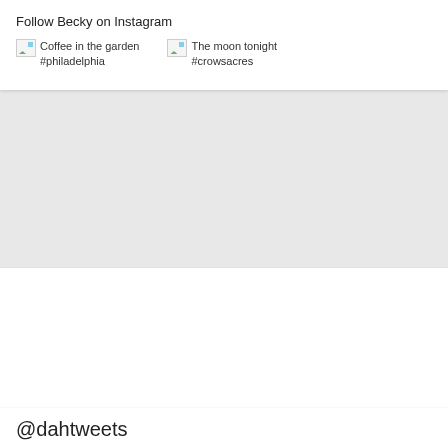Follow Becky on Instagram
[Figure (photo): Broken image icon with caption: Coffee in the garden #philadelphia]
[Figure (photo): Broken image icon with caption: The moon tonight #crowsacres]
@dahtweets
Trapped by your love, chained to your side. Also, horseys!!! https://t.co/EhjriM8lyy Via @sjzick
ABOUT 4 HOURS AGO
JOIN NOW!